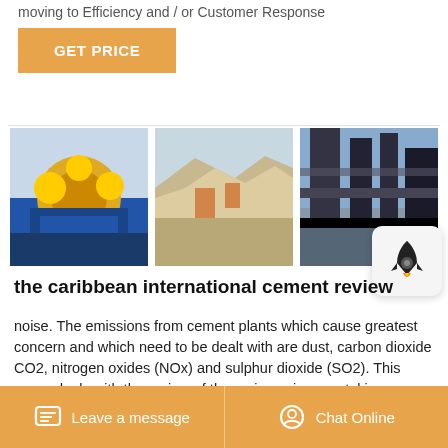moving to Efficiency and / or Customer Response
GET PRICE
[Figure (photo): Three industrial/mining site photos: washing machine with yellow wheels, open quarry/mining site, dark industrial pipe/equipment]
the caribbean international cement review
noise. The emissions from cement plants which cause greatest concern and which need to be dealt with are dust, carbon dioxide CO2, nitrogen oxides (NOx) and sulphur dioxide (SO2). This paper deals with the review of the main environmental issues related to the cement production in
Leave a message   Chat Online